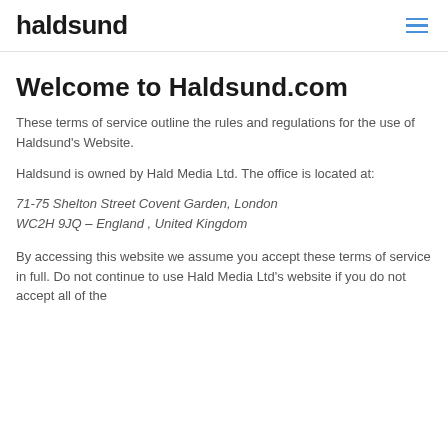haldsund
Welcome to Haldsund.com
These terms of service outline the rules and regulations for the use of Haldsund's Website.
Haldsund is owned by Hald Media Ltd. The office is located at:
71-75 Shelton Street Covent Garden, London WC2H 9JQ – England , United Kingdom
By accessing this website we assume you accept these terms of service in full. Do not continue to use Hald Media Ltd's website if you do not accept all of the